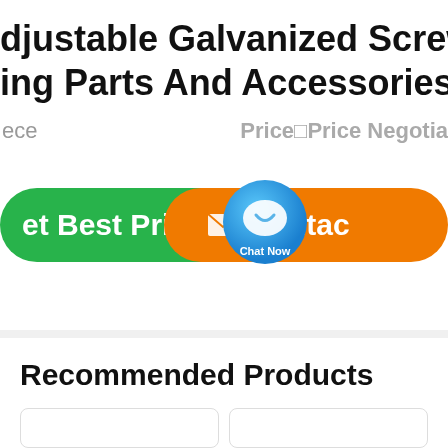djustable Galvanized Screw Jack ing Parts And Accessories
ece   Price Price Negotia
[Figure (screenshot): Green button labeled 'et Best Price', a circular blue chat bubble labeled 'Chat Now', and an orange button labeled 'Contac' with an envelope icon]
Recommended Products